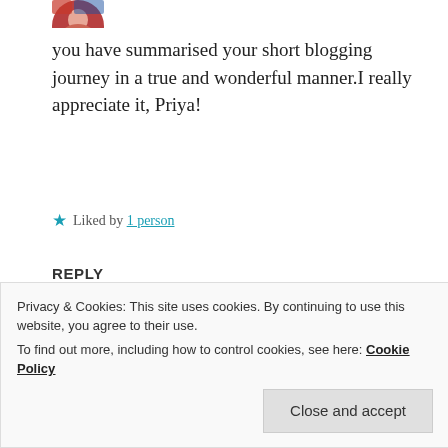[Figure (illustration): Partial circular avatar image at top, partially cropped]
you have summarised your short blogging journey in a true and wonderful manner.I really appreciate it, Priya!
★ Liked by 1 person
REPLY
[Figure (photo): Circular avatar of Zealous Homo Sapiens, dark reddish-brown toned portrait photo]
ZEALOUS HOMO SAPIENS
19 Apr 2019 at 7:03 pm
Privacy & Cookies: This site uses cookies. By continuing to use this website, you agree to their use.
To find out more, including how to control cookies, see here: Cookie Policy
Close and accept